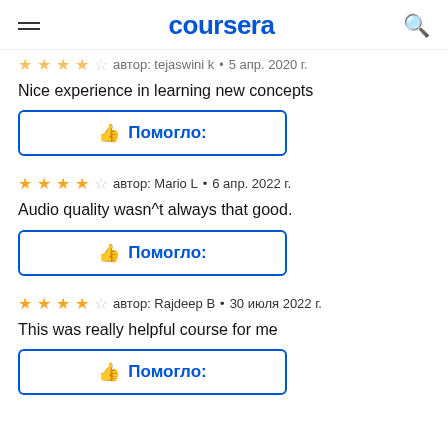coursera
автор: tejaswini k  •  5 апр. 2020 г.
Nice experience in learning new concepts
👍 Помогло:
автор: Mario L  •  6 апр. 2022 г.
Audio quality wasn^t always that good.
👍 Помогло:
автор: Rajdeep B  •  30 июля 2022 г.
This was really helpful course for me
👍 Помогло: